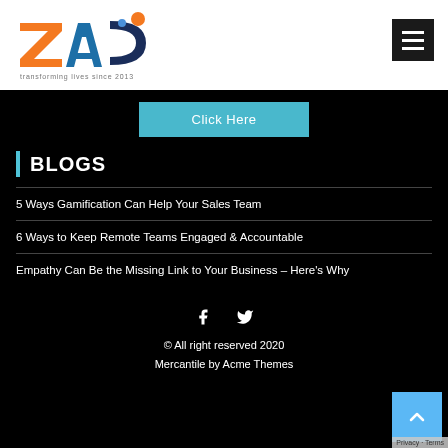[Figure (logo): ZAC logo with orange Z, blue A, dark blue C with dots, and tagline 'transforming lives since 2013']
[Figure (other): Hamburger menu button (dark background, three white horizontal lines)]
Click Here
BLOGS
5 Ways Gamification Can Help Your Sales Team
6 Ways to Keep Remote Teams Engaged & Accountable
Empathy Can Be the Missing Link to Your Business – Here's Why
[Figure (other): Social media icons: Facebook (f) and Twitter bird]
© All right reserved 2020
Mercantile by Acme Themes